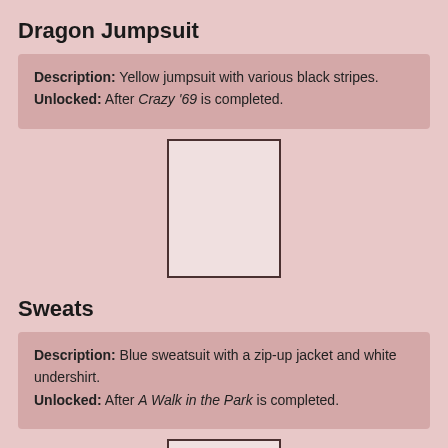Dragon Jumpsuit
Description: Yellow jumpsuit with various black stripes.
Unlocked: After Crazy '69 is completed.
[Figure (illustration): Empty white rectangle placeholder for Dragon Jumpsuit costume image]
Sweats
Description: Blue sweatsuit with a zip-up jacket and white undershirt.
Unlocked: After A Walk in the Park is completed.
[Figure (illustration): Empty white rectangle placeholder for Sweats costume image]